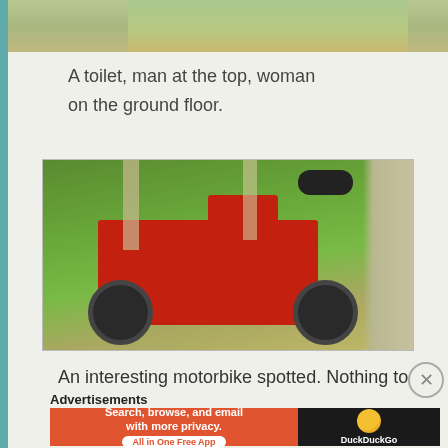[Figure (photo): Top portion of a photo showing grass and ground, partially cropped at top of page]
A toilet, man at the top, woman on the ground floor.
[Figure (photo): A red three-wheeled motorbike/tricycle parked on grass with trees in the background]
An interesting motorbike spotted. Nothing to do
Advertisements
[Figure (infographic): DuckDuckGo advertisement banner: 'Search, browse, and email with more privacy. All in One Free App' with DuckDuckGo logo on dark background]